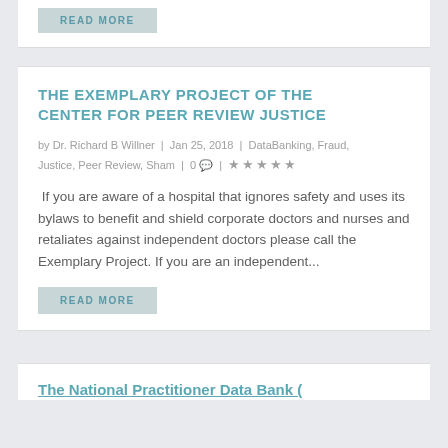READ MORE
THE EXEMPLARY PROJECT OF THE CENTER FOR PEER REVIEW JUSTICE
by Dr. Richard B Willner | Jan 25, 2018 | DataBanking, Fraud, Justice, Peer Review, Sham | 0 |
If you are aware of a hospital that ignores safety and uses its bylaws to benefit and shield corporate doctors and nurses and retaliates against independent doctors please call the Exemplary Project. If you are an independent...
READ MORE
The National Practitioner Data Bank (